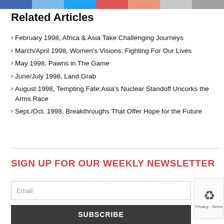Related Articles
February 1998, Africa & Asia Take Challenging Journeys
March/April 1998, Women's Visions: Fighting For Our Lives
May 1998, Pawns in The Game
June/July 1998, Land Grab
August 1998, Tempting Fate:Asia's Nuclear Standoff Uncorks the Arms Race
Sept./Oct. 1998, Breakthroughs That Offer Hope for the Future
SIGN UP FOR OUR WEEKLY NEWSLETTER
Email
SUBSCRIBE